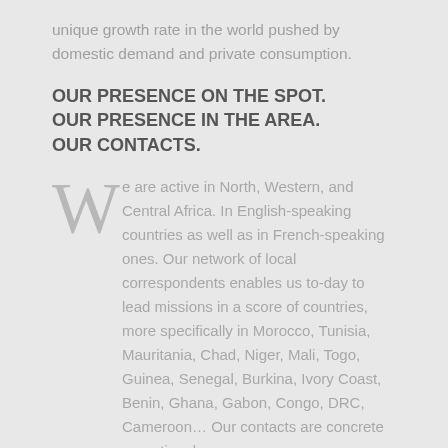unique growth rate in the world pushed by domestic demand and private consumption.
OUR PRESENCE ON THE SPOT. OUR PRESENCE IN THE AREA. OUR CONTACTS.
We are active in North, Western, and Central Africa. In English-speaking countries as well as in French-speaking ones. Our network of local correspondents enables us to-day to lead missions in a score of countries, more specifically in Morocco, Tunisia, Mauritania, Chad, Niger, Mali, Togo, Guinea, Senegal, Burkina, Ivory Coast, Benin, Ghana, Gabon, Congo, DRC, Cameroon… Our contacts are concrete operational